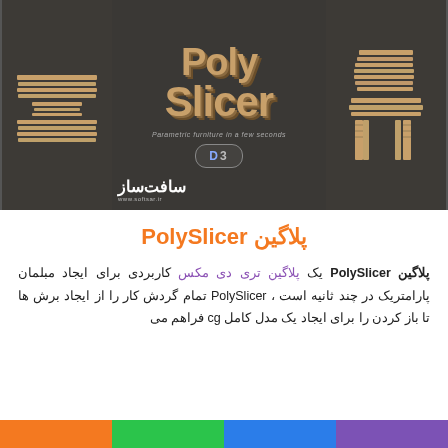[Figure (illustration): Hero image showing PolySlicer plugin promotional graphic: left panel with a sliced parametric chair in beige/cardboard style on dark background, center panel with large 3D bubble text 'PolySlicer' in tan/beige color on dark background with subtitle text and a 3D badge, right panel with a sliced parametric bench/table on dark background. Softsar logo in bottom-left of image.]
پلاگین PolySlicer
پلاگین PolySlicer یک پلاگین تری دی مکس کاربردی برای ایجاد مبلمان پارامتریک در چند ثانیه است ، PolySlicer تمام گردش کار را از ایجاد برش ها تا باز کردن را برای ایجاد یک مدل کامل cg فراهم می